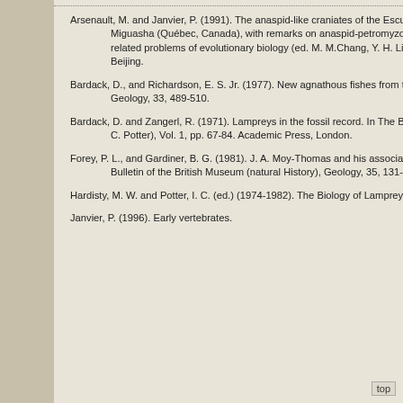Arsenault, M. and Janvier, P. (1991). The anaspid-like craniates of the Escuminac Formation (Upper Devonian) from Miguasha (Québec, Canada), with remarks on anaspid-petromyzontid relationships.In Early vertebrates and related problems of evolutionary biology (ed. M. M.Chang, Y. H. Liu, and G. R. Zhang) pp. 19-40, Science Press, Beijing.
Bardack, D., and Richardson, E. S. Jr. (1977). New agnathous fishes from the Pennsylvanian of Illinois. Fieldiana: Geology, 33, 489-510.
Bardack, D. and Zangerl, R. (1971). Lampreys in the fossil record. In The Biology of lampreys (ed. M. W. Hardisty and I. C. Potter), Vol. 1, pp. 67-84. Academic Press, London.
Forey, P. L., and Gardiner, B. G. (1981). J. A. Moy-Thomas and his association with the British Museum (Natural History). Bulletin of the British Museum (natural History), Geology, 35, 131-144.
Hardisty, M. W. and Potter, I. C. (ed.) (1974-1982). The Biology of Lampreys, 4 vols, Academic Press, London.
Janvier, P. (1996). Early vertebrates.